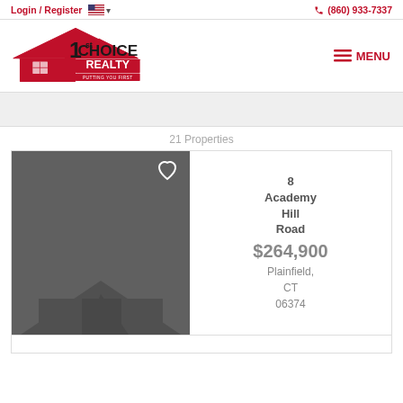Login / Register  (860) 933-7337
[Figure (logo): 1st Choice Realty - Putting You First logo with red roof graphic]
MENU
[Figure (photo): Gray banner strip area]
21 Properties
[Figure (photo): Property listing image - dark gray placeholder with house silhouette and heart icon]
8 Academy Hill Road
$264,900
Plainfield, CT
06374